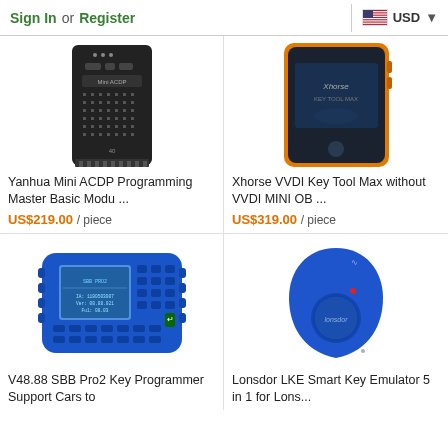Sign In or Register | USD
[Figure (photo): Yanhua Mini ACDP black programming device with keypad]
Yanhua Mini ACDP Programming Master Basic Modu ...
US$219.00 / piece
[Figure (photo): Xhorse VVDI Key Tool Max handheld device with orange border and dark screen]
Xhorse VVDI Key Tool Max without VVDI MINI OB ...
US$319.00 / piece
[Figure (photo): V48.88 SBB Pro2 blue handheld key programmer with screen and keypad]
V48.88 SBB Pro2 Key Programmer Support Cars to
[Figure (photo): Lonsdor LKE Smart Key Emulator blue fob-shaped device]
Lonsdor LKE Smart Key Emulator 5 in 1 for Lons...